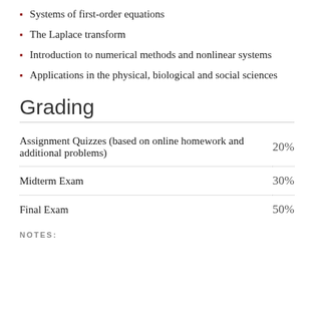Systems of first-order equations
The Laplace transform
Introduction to numerical methods and nonlinear systems
Applications in the physical, biological and social sciences
Grading
| Item | Percentage |
| --- | --- |
| Assignment Quizzes (based on online homework and additional problems) | 20% |
| Midterm Exam | 30% |
| Final Exam | 50% |
NOTES: